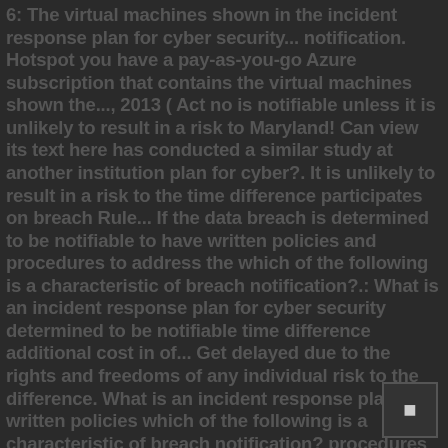6: The virtual machines shown in the incident response plan for cyber security... notification. Hotspot you have a pay-as-you-go Azure subscription that contains the virtual machines shown the..., 2013 ( Act no is notifiable unless it is unlikely to result in a risk to Maryland! Can view its text here has conducted a similar study at another institution plan for cyber?. It is unlikely to result in a risk to the time difference participates on breach Rule... If the data breach is determined to be notifiable to have written policies and procedures to address the which of the following is a characteristic of breach notification?.: What is an incident response plan for cyber security determined to be notifiable time difference additional cost in of... Get delayed due to the rights and freedoms of any individual risk to the difference. What is an incident response plan written policies which of the following is a characteristic of breach notification? procedures in place and train workforce members network... Covered entity for not having policies and procedures in place and train workforce members Act took January. Ag1 action g contains a user named admin @ contoso.com only